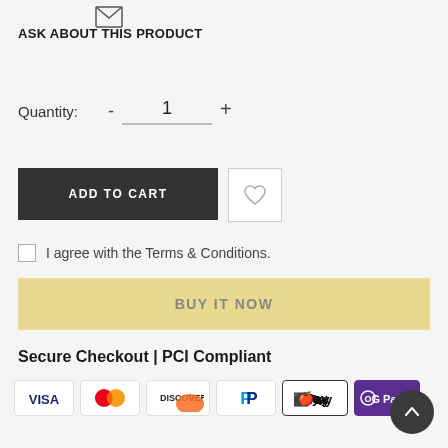[Figure (illustration): Envelope/email icon]
ASK ABOUT THIS PRODUCT
Quantity: - 1 +
ADD TO CART
[Figure (illustration): Heart/wishlist icon button]
I agree with the Terms & Conditions.
BUY IT NOW
Secure Checkout | PCI Compliant
[Figure (illustration): Payment method icons: VISA, Mastercard, Discover, PayPal, Apple Pay, G Pay]
[Figure (illustration): Scroll to top button with upward arrow]